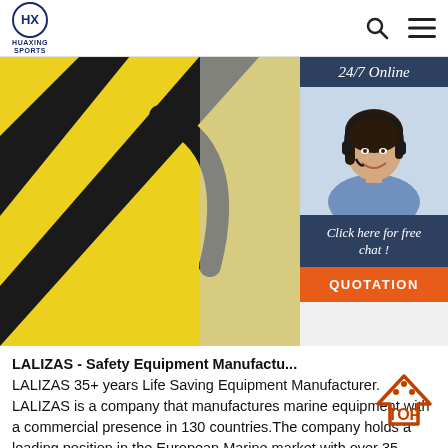HUAXING SPORTS
[Figure (photo): Close-up photo of yellow and black striped buoy or marine safety equipment on the left. On the right side, a sidebar widget shows '24/7 Online' header, a woman with a headset smiling, 'Click here for free chat!' text, and an orange QUOTATION button.]
LALIZAS - Safety Equipment Manufacturer. LALIZAS 35+ years Life Saving Equipment Manufacturer. LALIZAS is a company that manufactures marine equipment with a commercial presence in 130 countries.The company holds a leading position in the European Marine market with over 35 years of experience and expertise in life saving...